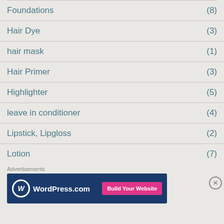Foundations (8)
Hair Dye (3)
hair mask (1)
Hair Primer (3)
Highlighter (5)
leave in conditioner (4)
Lipstick, Lipgloss (2)
Lotion (7)
[Figure (screenshot): WordPress.com advertisement banner with 'Build Your Website' button]